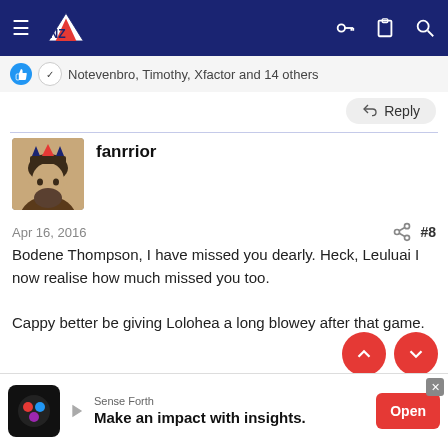[Figure (screenshot): Navigation bar with hamburger menu, NZ Warriors logo, key icon, clipboard icon, and search icon on dark blue background]
Notevenbro, Timothy, Xfactor and 14 others
Reply
fanrrior
Apr 16, 2016
#8
Bodene Thompson, I have missed you dearly. Heck, Leuluai I now realise how much missed you too.

Cappy better be giving Lolohea a long blowey after that game.
Timothy, Xfactor, henry6606 and 10 others
[Figure (screenshot): Ad banner for Sense Forth: Make an impact with insights. Open button.]